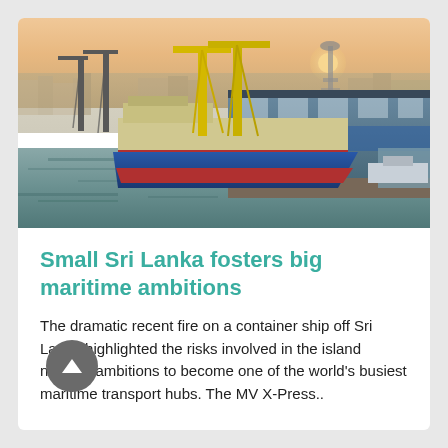[Figure (photo): Aerial/elevated view of a port harbor at dusk or dawn. A large cargo ship with yellow cranes is docked at a warehouse/shed facility on the right. The water is calm and reflects the warm sky. Cranes and port infrastructure visible in the background, with a city skyline and a communications tower on the right horizon. The sky is warm orange-pink.]
Small Sri Lanka fosters big maritime ambitions
The dramatic recent fire on a container ship off Sri Lanka highlighted the risks involved in the island nation's ambitions to become one of the world's busiest maritime transport hubs. The MV X-Press..